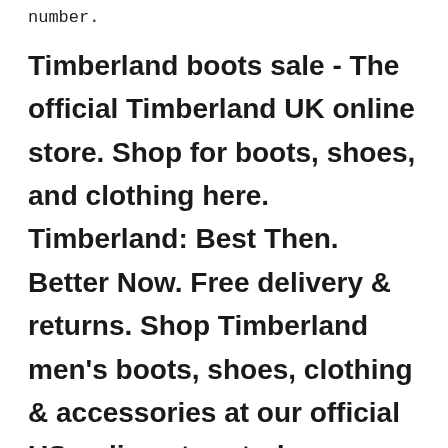number.
Timberland boots sale - The official Timberland UK online store. Shop for boots, shoes, and clothing here. Timberland: Best Then. Better Now. Free delivery & returns. Shop Timberland men's boots, shoes, clothing & accessories at our official US online store today. Design your own boots or boat shoes & shop our collection. PRO Boots & Shoes Sale Footwear SHOP ALL FOOTWEAR Clothing Shop All Clothing.